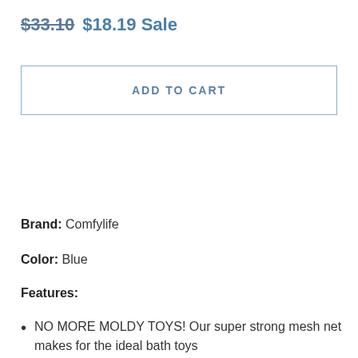$33.10  $18.19 Sale
ADD TO CART
Brand: Comfylife
Color: Blue
Features:
NO MORE MOLDY TOYS! Our super strong mesh net makes for the ideal bath toys